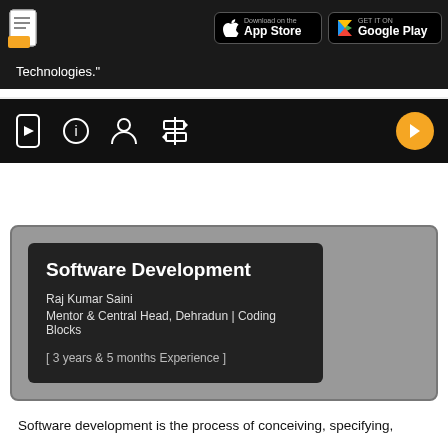[Figure (screenshot): App header bar with document icon, App Store badge, and Google Play badge on dark background]
Technologies."
[Figure (screenshot): Icon toolbar with phone/play icon, info icon, person icon, settings icon, and orange play button on dark background]
Software Development
Raj Kumar Saini
Mentor & Central Head, Dehradun | Coding Blocks
[ 3 years & 5 months Experience ]
Software development is the process of conceiving, specifying,